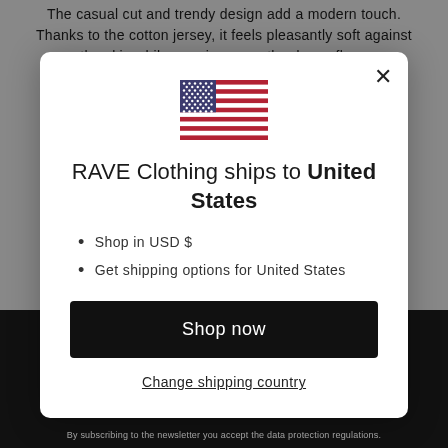The casual cut and trendy design add a modern touch. Thanks to the cotton jersey, it feels pleasantly soft against the skin while romping or on the dance floor.
[Figure (illustration): US flag emoji/icon centered in modal]
RAVE Clothing ships to United States
Shop in USD $
Get shipping options for United States
Shop now
Change shipping country
By subscribing to the newsletter you accept the data protection regulations.